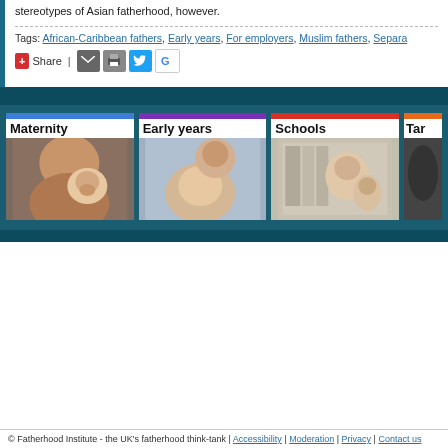stereotypes of Asian fatherhood, however.
Tags: African-Caribbean fathers, Early years, For employers, Muslim fathers, Separa…
[Figure (screenshot): Share bar with AddThis button, email, print, Twitter, and Google share icons]
[Figure (screenshot): Navigation section with four category columns: Maternity, Early years, Schools, Tar... each with a colored top bar and a photo of a father with child]
© Fatherhood Institute - the UK's fatherhood think-tank | Accessibility | Moderation | Privacy | Contact us